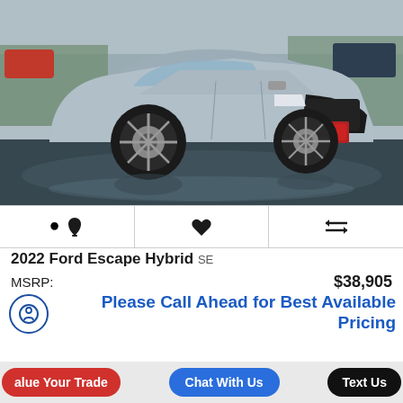[Figure (photo): Silver 2022 Ford Escape Hybrid SUV photographed from front-left angle on wet pavement in a parking lot]
🔔  ♥  ⇄
2022 Ford Escape Hybrid SE
MSRP: $38,905
Please Call Ahead for Best Available Pricing
alue Your Trade   Chat With Us   Text Us